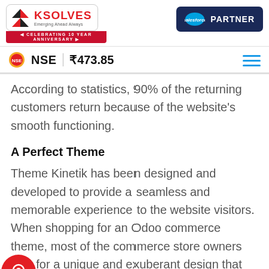Ksolves — Emerging Ahead Always | Celebrating 10 Year Anniversary | salesforce PARTNER | NSE ₹473.85
According to statistics, 90% of the returning customers return because of the website's smooth functioning.
A Perfect Theme
Theme Kinetik has been designed and developed to provide a seamless and memorable experience to the website visitors. When shopping for an Odoo commerce theme, most of the commerce store owners look for a unique and exuberant design that